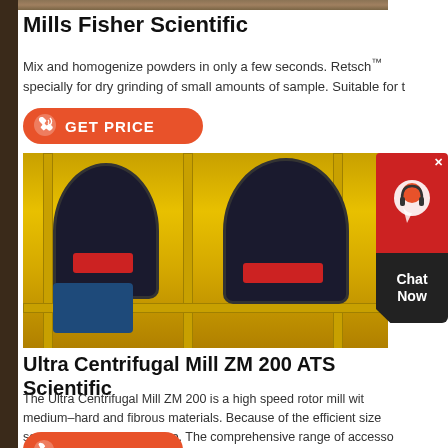[Figure (photo): Top cropped photo of mill equipment]
Mills Fisher Scientific
Mix and homogenize powders in only a few seconds. Retsch™ specially for dry grinding of small amounts of sample. Suitable for t
[Figure (other): Get Price button with phone icon on orange rounded background]
[Figure (photo): Ultra Centrifugal Mill ZM 200 industrial equipment on yellow scaffolding structure]
[Figure (other): Chat Now widget on right side with red top and dark bottom]
Ultra Centrifugal Mill ZM 200 ATS Scientific
The Ultra Centrifugal Mill ZM 200 is a high speed rotor mill wit medium–hard and fibrous materials. Because of the efficient size samples in a very short time. The comprehensive range of accesso
[Figure (other): Partially visible Get Price button at bottom]